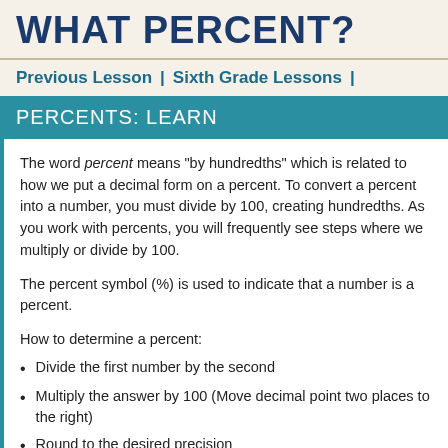WHAT PERCENT?
Previous Lesson | Sixth Grade Lessons |
PERCENTS: LEARN
The word percent means "by hundredths" which is related to how we put a decimal form on a percent. To convert a percent into a decimal number, you must divide by 100, creating hundredths. As you work with percents, you will frequently see steps where we multiply or divide by 100.
The percent symbol (%) is used to indicate that a number is a percent.
How to determine a percent:
Divide the first number by the second
Multiply the answer by 100 (Move decimal point two places to the right)
Round to the desired precision
Label the answer with the % sign